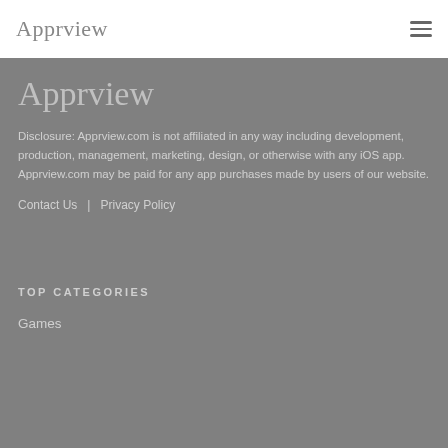Apprview
Apprview
Disclosure: Apprview.com is not affiliated in any way including development, production, management, marketing, design, or otherwise with any iOS app. Apprview.com may be paid for any app purchases made by users of our website.
Contact Us | Privacy Policy
TOP CATEGORIES
Games